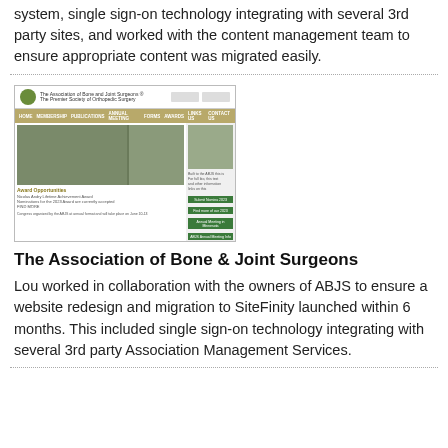system, single sign-on technology integrating with several 3rd party sites, and worked with the content management team to ensure appropriate content was migrated easily.
[Figure (screenshot): Screenshot of The Association of Bone and Joint Surgeons website showing navigation bar, group photo, individual headshot, award opportunities section, and green call-to-action buttons.]
The Association of Bone & Joint Surgeons
Lou worked in collaboration with the owners of ABJS to ensure a website redesign and migration to SiteFinity launched within 6 months. This included single sign-on technology integrating with several 3rd party Association Management Services.